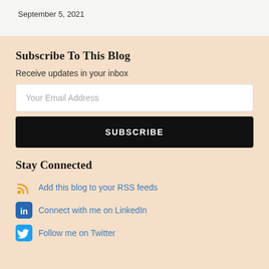September 5, 2021
Subscribe To This Blog
Receive updates in your inbox
Your Email Address
SUBSCRIBE
Stay Connected
Add this blog to your RSS feeds
Connect with me on LinkedIn
Follow me on Twitter